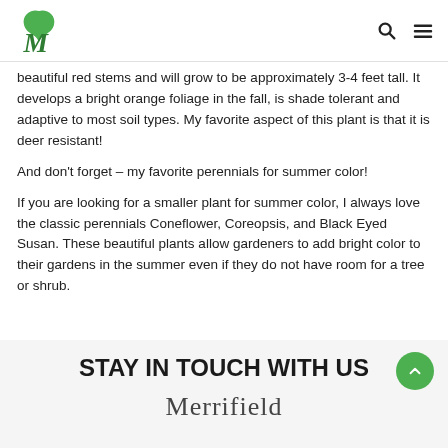M [Merrifield logo] [search icon] [menu icon]
beautiful red stems and will grow to be approximately 3-4 feet tall. It develops a bright orange foliage in the fall, is shade tolerant and adaptive to most soil types. My favorite aspect of this plant is that it is deer resistant!
And don't forget – my favorite perennials for summer color!
If you are looking for a smaller plant for summer color, I always love the classic perennials Coneflower, Coreopsis, and Black Eyed Susan. These beautiful plants allow gardeners to add bright color to their gardens in the summer even if they do not have room for a tree or shrub.
STAY IN TOUCH WITH US
Merrifield